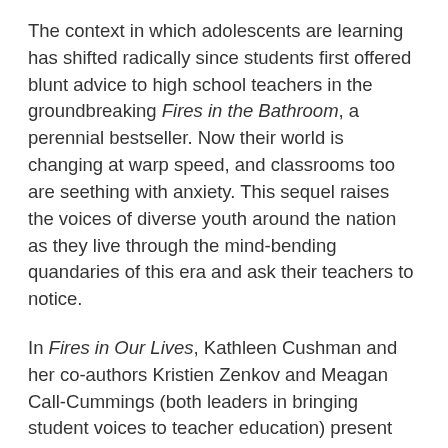The context in which adolescents are learning has shifted radically since students first offered blunt advice to high school teachers in the groundbreaking Fires in the Bathroom, a perennial bestseller. Now their world is changing at warp speed, and classrooms too are seething with anxiety. This sequel raises the voices of diverse youth around the nation as they live through the mind-bending quandaries of this era and ask their teachers to notice.
In Fires in Our Lives, Kathleen Cushman and her co-authors Kristien Zenkov and Meagan Call-Cummings (both leaders in bringing student voices to teacher education) present new first-person testimony on how today's youth experience the risks and challenges of high school. The students who speak here need their teachers more than ever as they navigate cultural, social, and political borders in their communities. Reinforced by classroom examples and supplemented with helpful takeaways, Fires in Our [Lives offers compelling guidance on how to best help...]